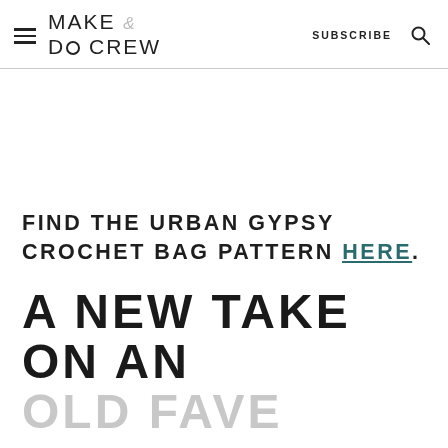MAKE & DO CREW  SUBSCRIBE
FIND THE URBAN GYPSY CROCHET BAG PATTERN HERE.
A NEW TAKE ON AN OLD FAVE